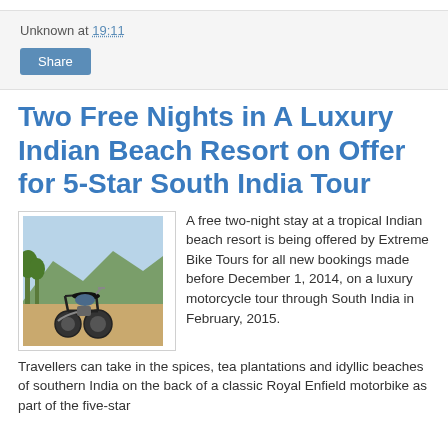Unknown at 19:11
Share
Two Free Nights in A Luxury Indian Beach Resort on Offer for 5-Star South India Tour
[Figure (photo): A Royal Enfield motorcycle parked on a dirt road with green hills and trees in the background, South India landscape]
A free two-night stay at a tropical Indian beach resort is being offered by Extreme Bike Tours for all new bookings made before December 1, 2014, on a luxury motorcycle tour through South India in February, 2015.
Travellers can take in the spices, tea plantations and idyllic beaches of southern India on the back of a classic Royal Enfield motorbike as part of the five-star